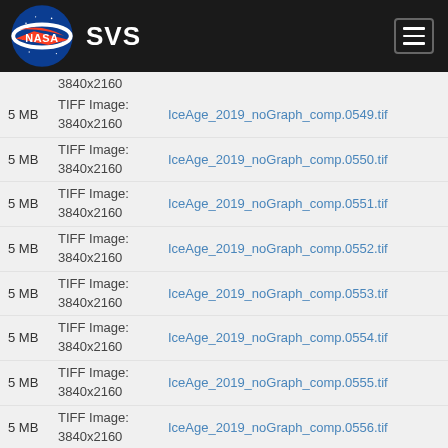NASA SVS
3840x2160
5 MB  TIFF Image: 3840x2160  IceAge_2019_noGraph_comp.0549.tif
5 MB  TIFF Image: 3840x2160  IceAge_2019_noGraph_comp.0550.tif
5 MB  TIFF Image: 3840x2160  IceAge_2019_noGraph_comp.0551.tif
5 MB  TIFF Image: 3840x2160  IceAge_2019_noGraph_comp.0552.tif
5 MB  TIFF Image: 3840x2160  IceAge_2019_noGraph_comp.0553.tif
5 MB  TIFF Image: 3840x2160  IceAge_2019_noGraph_comp.0554.tif
5 MB  TIFF Image: 3840x2160  IceAge_2019_noGraph_comp.0555.tif
5 MB  TIFF Image: 3840x2160  IceAge_2019_noGraph_comp.0556.tif
5 MB  TIFF Image: 3840x2160  IceAge_2019_noGraph_comp.0557.tif
TIFF Image: